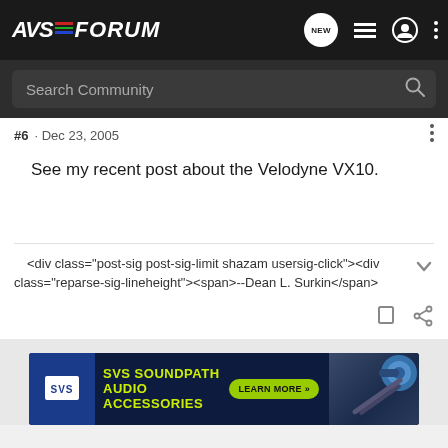AVS Forum
#6 · Dec 23, 2005
See my recent post about the Velodyne VX10.
<div class="post-sig post-sig-limit shazam usersig-click"><div class="reparse-sig-lineheight"><span>--Dean L. Surkin</span>
[Figure (screenshot): SVS SoundPath Audio Accessories advertisement banner at bottom of page]